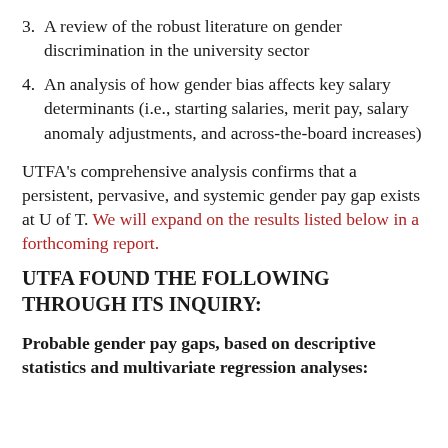3. A review of the robust literature on gender discrimination in the university sector
4. An analysis of how gender bias affects key salary determinants (i.e., starting salaries, merit pay, salary anomaly adjustments, and across-the-board increases)
UTFA's comprehensive analysis confirms that a persistent, pervasive, and systemic gender pay gap exists at U of T. We will expand on the results listed below in a forthcoming report.
UTFA FOUND THE FOLLOWING THROUGH ITS INQUIRY:
Probable gender pay gaps, based on descriptive statistics and multivariate regression analyses: